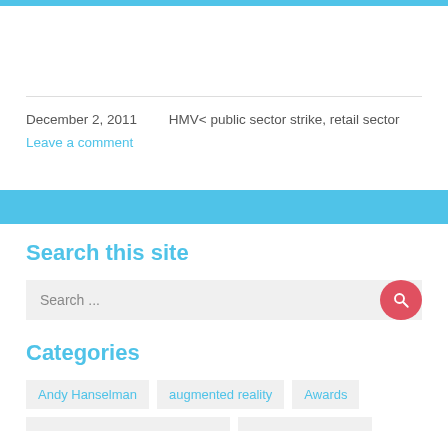December 2, 2011    HMV< public sector strike, retail sector
Leave a comment
Search this site
Search ...
Categories
Andy Hanselman
augmented reality
Awards